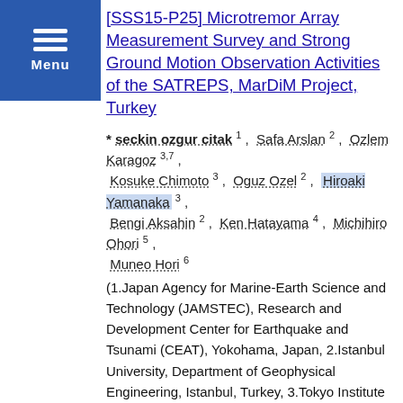[SSS15-P25] Microtremor Array Measurement Survey and Strong Ground Motion Observation Activities of the SATREPS, MarDiM Project, Turkey
* seckin ozgur citak 1, Safa Arslan 2, Ozlem Karagoz 3,7, Kosuke Chimoto 3, Oguz Ozel 2, Hiroaki Yamanaka 3, Bengi Aksahin 2, Ken Hatayama 4, Michihiro Ohori 5, Muneo Hori 6
(1.Japan Agency for Marine-Earth Science and Technology (JAMSTEC), Research and Development Center for Earthquake and Tsunami (CEAT), Yokohama, Japan, 2.Istanbul University, Department of Geophysical Engineering, Istanbul, Turkey, 3.Tokyo Institute of Technology, Dept of Environmental Science and Technology, Yokohama, Japan, 4.National Research Institute of Fire and Disaster, Tokyo, Japan, 5.Fukui University, Research Institute of Nuclear Engineering, Fukui, Japan, 6.University of Tokyo, Earthquake Research Institute, Tokyo, Japan, 7.Canakkale Onsekiz Mart University, Department of Geophysical Engineering, Canakkale, Turkey)